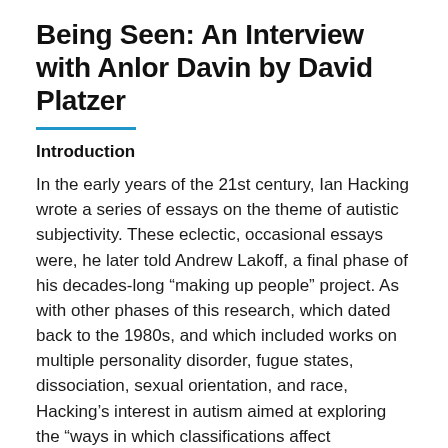Being Seen: An Interview with Anlor Davin by David Platzer
Introduction
In the early years of the 21st century, Ian Hacking wrote a series of essays on the theme of autistic subjectivity. These eclectic, occasional essays were, he later told Andrew Lakoff, a final phase of his decades-long “making up people&rdquo; project. As with other phases of this research, which dated back to the 1980s, and which included works on multiple personality disorder, fugue states, dissociation, sexual orientation, and race, Hacking&rsquo;s interest in autism aimed at exploring the “ways in which classifications affect